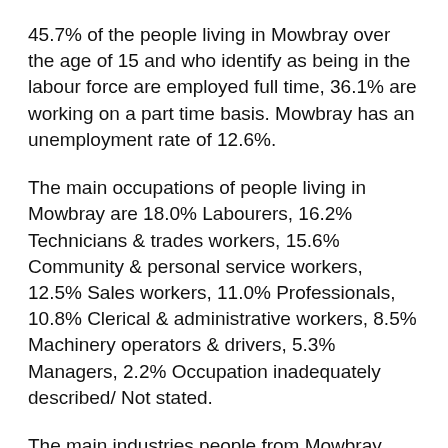45.7% of the people living in Mowbray over the age of 15 and who identify as being in the labour force are employed full time, 36.1% are working on a part time basis. Mowbray has an unemployment rate of 12.6%.
The main occupations of people living in Mowbray are 18.0% Labourers, 16.2% Technicians & trades workers, 15.6% Community & personal service workers, 12.5% Sales workers, 11.0% Professionals, 10.8% Clerical & administrative workers, 8.5% Machinery operators & drivers, 5.3% Managers, 2.2% Occupation inadequately described/ Not stated.
The main industries people from Mowbray work in are 13.2% Retail trade, 12.5% Accommodation and food services, 12.2% Health care and social assistance, 11.9% Manufacturing, 10.2% Education and training, 6.2% Construction, 5.0% Transport, postal and warehousing.